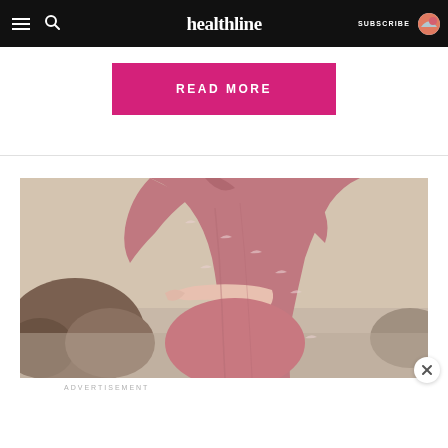healthline — SUBSCRIBE
READ MORE
[Figure (photo): Pregnant woman wearing a pink/red floral short-sleeve maternity dress, hands resting on her baby bump, standing outdoors near rocks.]
ADVERTISEMENT